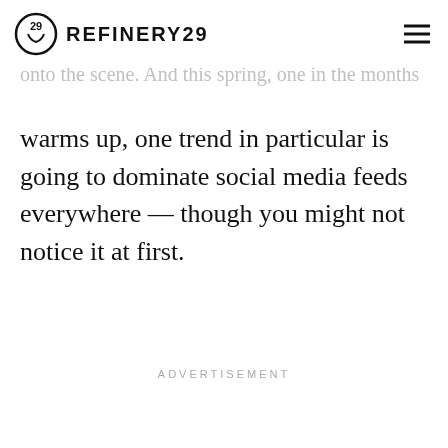REFINERY29
warms up, one trend in particular is going to dominate social media feeds everywhere — though you might not notice it at first.
ADVERTISEMENT